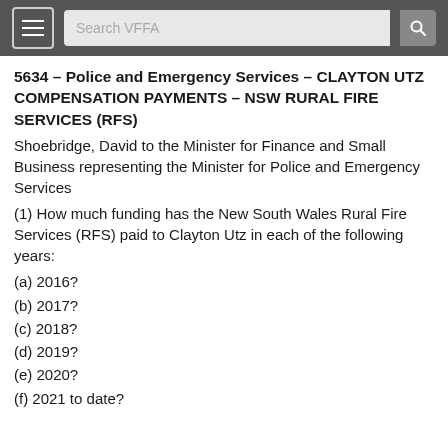Search VFFA
5634 – Police and Emergency Services – CLAYTON UTZ COMPENSATION PAYMENTS – NSW RURAL FIRE SERVICES (RFS)
Shoebridge, David to the Minister for Finance and Small Business representing the Minister for Police and Emergency Services
(1) How much funding has the New South Wales Rural Fire Services (RFS) paid to Clayton Utz in each of the following years:
(a) 2016?
(b) 2017?
(c) 2018?
(d) 2019?
(e) 2020?
(f) 2021 to date?